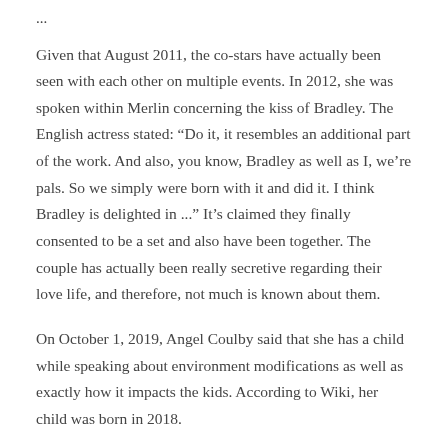...
Given that August 2011, the co-stars have actually been seen with each other on multiple events. In 2012, she was spoken within Merlin concerning the kiss of Bradley. The English actress stated: “Do it, it resembles an additional part of the work. And also, you know, Bradley as well as I, we’re pals. So we simply were born with it and did it. I think Bradley is delighted in ...” It’s claimed they finally consented to be a set and also have been together. The couple has actually been really secretive regarding their love life, and therefore, not much is known about them.
On October 1, 2019, Angel Coulby said that she has a child while speaking about environment modifications as well as exactly how it impacts the kids. According to Wiki, her child was born in 2018.
...